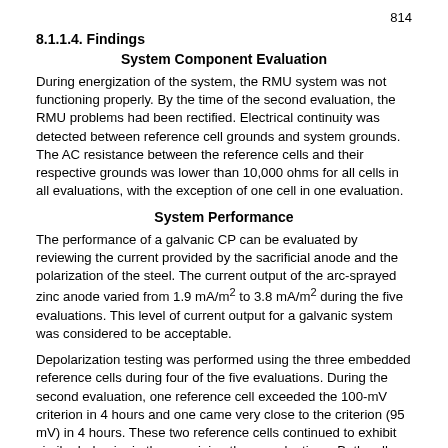814
8.1.1.4. Findings
System Component Evaluation
During energization of the system, the RMU system was not functioning properly. By the time of the second evaluation, the RMU problems had been rectified. Electrical continuity was detected between reference cell grounds and system grounds. The AC resistance between the reference cells and their respective grounds was lower than 10,000 ohms for all cells in all evaluations, with the exception of one cell in one evaluation.
System Performance
The performance of a galvanic CP can be evaluated by reviewing the current provided by the sacrificial anode and the polarization of the steel. The current output of the arc-sprayed zinc anode varied from 1.9 mA/m² to 3.8 mA/m² during the five evaluations. This level of current output for a galvanic system was considered to be acceptable.
Depolarization testing was performed using the three embedded reference cells during four of the five evaluations. During the second evaluation, one reference cell exceeded the 100-mV criterion in 4 hours and one came very close to the criterion (95 mV) in 4 hours. These two reference cells continued to exhibit similar behavior in the remaining three evaluations. Both cells measured depolarizations in excess of 100 mV when allowed to depolarize up to 22 hours.
The third reference cell did not indicate 100 mV of depolarization in 4